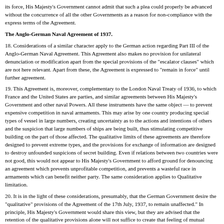its force, His Majesty's Government cannot admit that such a plea could properly be advanced without the concurrence of all the other Governments as a reason for non-compliance with the express terms of the Agreement.
The Anglo-German Naval Agreement of 1937.
18. Considerations of a similar character apply to the German action regarding Part III of the Anglo-German Naval Agreement. This Agreement also makes no provision for unilateral denunciation or modification apart from the special provisions of the "escalator clauses" which are not here relevant. Apart from these, the Agreement is expressed to "remain in force" until further agreement.
19. This Agreement is, moreover, complementary to the London Naval Treaty of 1936, to which France and the United States are parties, and similar agreements between His Majesty's Government and other naval Powers. All these instruments have the same object — to prevent expensive competition in naval armaments. This may arise by one country producing special types of vessel in large numbers, creating uncertainty as to the actions and intentions of others and the suspicion that large numbers of ships are being built, thus stimulating competitive building on the part of those affected. The qualitative limits of these agreements are therefore designed to prevent extreme types, and the provisions for exchange of information are designed to destroy unfounded suspicions of secret building. Even if relations between two countries were not good, this would not appear to His Majesty's Government to afford ground for denouncing an agreement which prevents unprofitable competition, and prevents a wasteful race in armaments which can benefit neither party. The same consideration applies to Qualitative limitation.
20. It is in the light of these considerations, presumably, that the German Government desire the "qualitative" provisions of the Agreement of the 17th July, 1937, to remain unaffected." In principle, His Majesty's Government would share this view, but they are advised that the retention of the qualitative provisions alone will not suffice to create that feeling of mutual security, to the creation of which it was the aim of the Agreement to contribute, and of which the provisions for the exchange of information were the expression. His Majesty's Government would at all times be ready to consider with the German Government the possibility in the words of their Note of placing Anglo-German Naval relations on a sure basis.
21. From the terms in which the German Government announced their decision to retain the qualitative limitations, but to regard the quantitative limitations which they consider themselves bound in the matter of cruisers. T